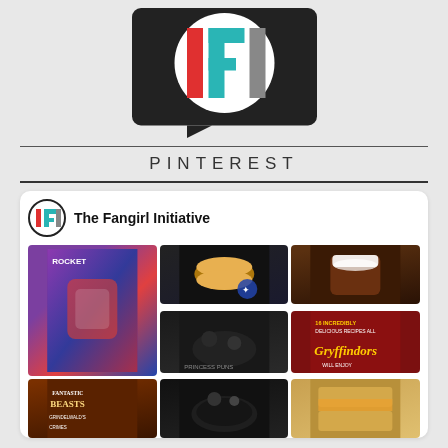[Figure (logo): The Fangirl Initiative (TFI) logo — speech bubble shape in dark background with colorful IFI letters (red, teal, gray) on white circle]
PINTEREST
[Figure (screenshot): Pinterest profile card for The Fangirl Initiative showing profile icon with TFI logo, name, and a grid of pin images including Rocket/Guardians artwork, food/sandwich pin, hot chocolate, dark food, Gryffindor recipes, Fantastic Beasts book, dark plate and toast images]